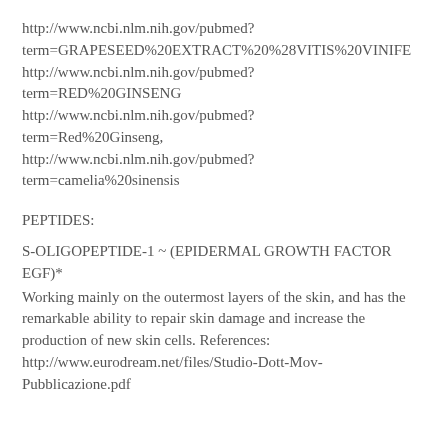http://www.ncbi.nlm.nih.gov/pubmed?term=GRAPESEED%20EXTRACT%20%28VITIS%20VINIFE
http://www.ncbi.nlm.nih.gov/pubmed?term=RED%20GINSENG
http://www.ncbi.nlm.nih.gov/pubmed?term=Red%20Ginseng,
http://www.ncbi.nlm.nih.gov/pubmed?term=camelia%20sinensis
PEPTIDES:
S-OLIGOPEPTIDE-1 ~ (EPIDERMAL GROWTH FACTOR EGF)*
Working mainly on the outermost layers of the skin, and has the remarkable ability to repair skin damage and increase the production of new skin cells. References: http://www.eurodream.net/files/Studio-Dott-Mov-Pubblicazione.pdf